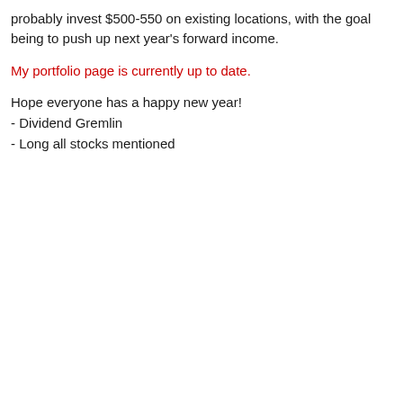probably invest $500-550 on existing locations, with the goal being to push up next year's forward income.
My portfolio page is currently up to date.
Hope everyone has a happy new year!
- Dividend Gremlin
- Long all stocks mentioned